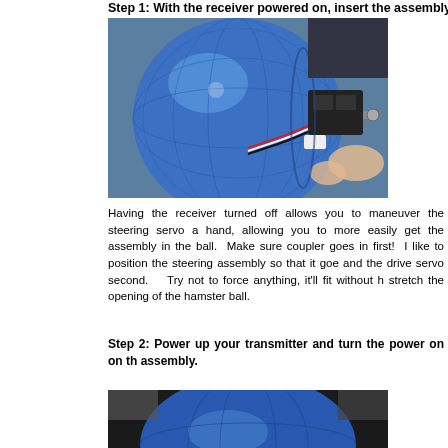Step 1: With the receiver powered on, insert the assembly into the bal...
[Figure (photo): A blue transparent hamster ball being held by a person, with a motor/servo assembly attached to its side via a metal rod and connector hardware. The assembly includes black servo motors and wiring.]
Having the receiver turned off allows you to maneuver the steering servo a hand, allowing you to more easily get the assembly in the ball.  Make sure coupler goes in first!  I like to position the steering assembly so that it goe and the drive servo second.    Try not to force anything, it'll fit without h stretch the opening of the hamster ball.
Step 2: Power up your transmitter and turn the power on on th assembly.
[Figure (photo): Partially visible photo showing the top of a blue hamster ball with dark background, beginning of second step illustration.]